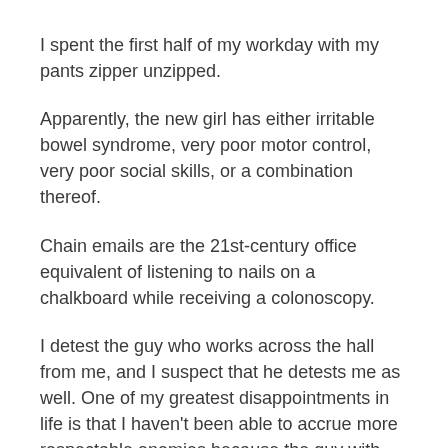I spent the first half of my workday with my pants zipper unzipped.
Apparently, the new girl has either irritable bowel syndrome, very poor motor control, very poor social skills, or a combination thereof.
Chain emails are the 21st-century office equivalent of listening to nails on a chalkboard while receiving a colonoscopy.
I detest the guy who works across the hall from me, and I suspect that he detests me as well. One of my greatest disappointments in life is that I haven't been able to accrue more respectable enemies because the guy with whom I share a mutual disdain lives alone, plays video games, and has strong opinions on the new Star Wars films.